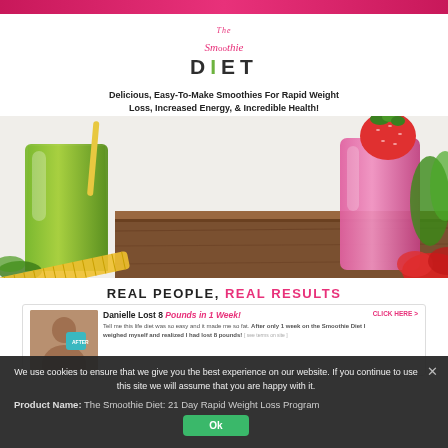[Figure (illustration): Pink horizontal bar at top of page]
[Figure (logo): The Smoothie Diet logo with pink script 'The Smoothie' and bold dark 'DIET' text with green I]
Delicious, Easy-To-Make Smoothies For Rapid Weight Loss, Increased Energy, & Incredible Health!
[Figure (photo): Two smoothies: green smoothie on left with tape measure, pink/strawberry smoothie on right, on wooden table surface]
REAL PEOPLE, REAL RESULTS
Danielle Lost 8 Pounds in 1 Week!
Tell me this life diet was so easy and it made me so fat. After only 1 week on the Smoothie Diet I weighed myself and realized I had lost 8 pounds!
We use cookies to ensure that we give you the best experience on our website. If you continue to use this site we will assume that you are happy with it.
Product Name: The Smoothie Diet: 21 Day Rapid Weight Loss Program